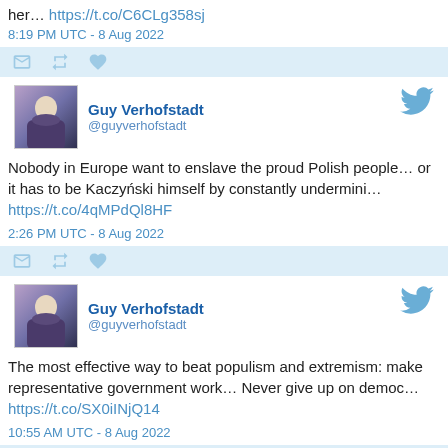her… https://t.co/C6CLg358sj
8:19 PM UTC - 8 Aug 2022
[Figure (screenshot): Action bar with reply, retweet, and like icons on light blue background]
Guy Verhofstadt @guyverhofstadt
Nobody in Europe want to enslave the proud Polish people… or it has to be Kaczyński himself by constantly undermini… https://t.co/4qMPdQl8HF
2:26 PM UTC - 8 Aug 2022
[Figure (screenshot): Action bar with reply, retweet, and like icons on light blue background]
Guy Verhofstadt @guyverhofstadt
The most effective way to beat populism and extremism: make representative government work… Never give up on democ… https://t.co/SX0iINjQ14
10:55 AM UTC - 8 Aug 2022
[Figure (screenshot): Action bar with reply, retweet, and like icons on light blue background]